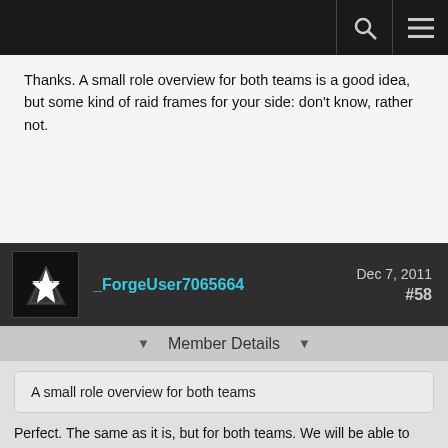Thanks. A small role overview for both teams is a good idea, but some kind of raid frames for your side: don't know, rather not.
_ForgeUser7065664  Dec 7, 2011  #58
Member Details
A small role overview for both teams
Perfect. The same as it is, but for both teams. We will be able to see our healers, if they're close and they're life it's great for everything.